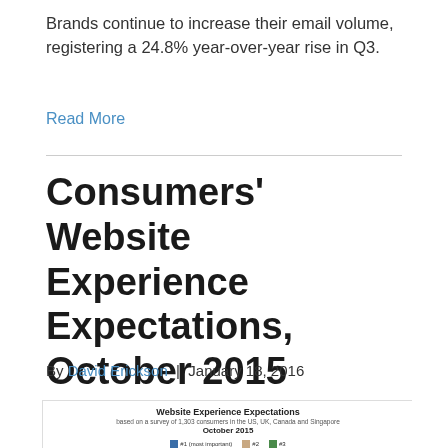Brands continue to increase their email volume, registering a 24.8% year-over-year rise in Q3.
Read More
Consumers' Website Experience Expectations, October 2015 [CHART]
By David Erickson | January 18, 2016
[Figure (stacked-bar-chart): Website Experience Expectations]